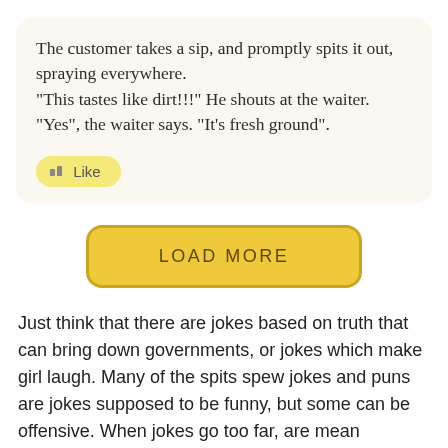The customer takes a sip, and promptly spits it out, spraying everywhere.
"This tastes like dirt!!!" He shouts at the waiter.
"Yes", the waiter says. "It's fresh ground".
[Figure (other): A yellow pill-shaped Like button with a thumbs-up bar chart icon and the word Like]
[Figure (other): A yellow rounded rectangle button with the text LOAD MORE]
Just think that there are jokes based on truth that can bring down governments, or jokes which make girl laugh. Many of the spits spew jokes and puns are jokes supposed to be funny, but some can be offensive. When jokes go too far, are mean